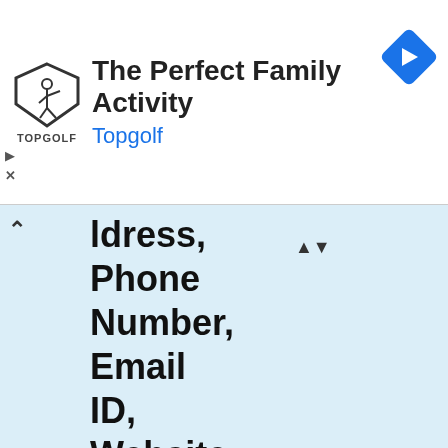[Figure (screenshot): Topgolf advertisement banner with logo, text 'The Perfect Family Activity', subtitle 'Topgolf', a navigation arrow icon, a play button icon, and a close (X) icon.]
Address, Phone Number, Email ID, Website
| Field | Value |
| --- | --- |
| Email Address | NA |
| Facebook | https://www.facebook.com/RissQua |
| House address (residence | United States |